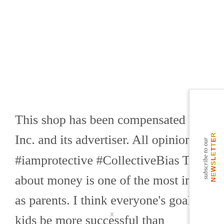This shop has been compensated by Collective Bias, Inc. and its advertiser. All opinions are mine alone. #iamprotective #CollectiveBias Teaching your kids about money is one of the most important jobs we have as parents. I think everyone's goal in life is to have their kids be more successful than
[Figure (other): Vertical sidebar widget with 'subscribe to our NEWSLETTER' text rotated 90 degrees, with 'NEWSLETTER' in alternating orange and gold bold uppercase letters]